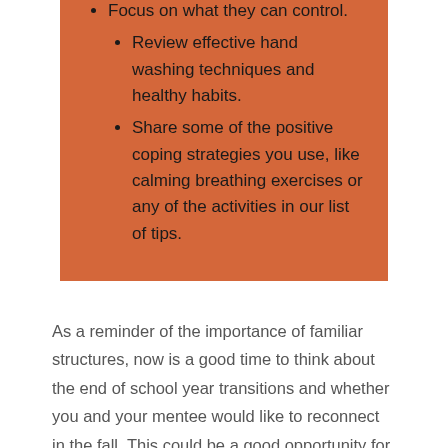Focus on what they can control.
Review effective hand washing techniques and healthy habits.
Share some of the positive coping strategies you use, like calming breathing exercises or any of the activities in our list of tips.
As a reminder of the importance of familiar structures, now is a good time to think about the end of school year transitions and whether you and your mentee would like to reconnect in the fall. This could be a good opportunity for them to exercise some control over an aspect